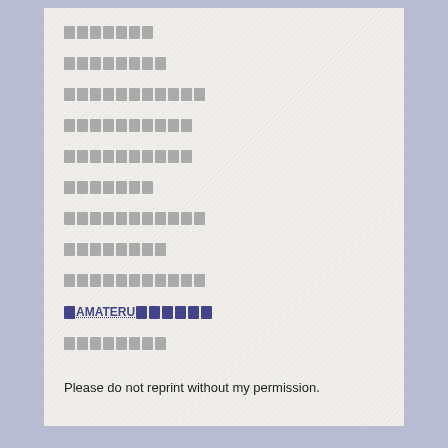□□□□□□□
□□□□□□□□
□□□□□□□□□□□
□□□□□□□□□□
□□□□□□□□□□
□□□□□□□
□□□□□□□□□□□
□□□□□□□□
□□□□□□□□□□□
「AMATERU」□□□□□□
□□□□□□□□
Please do not reprint without my permission.